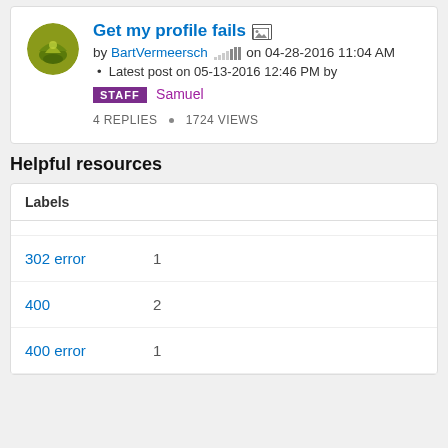Get my profile fails
by BartVermeersch on 04-28-2016 11:04 AM
Latest post on 05-13-2016 12:46 PM by STAFF Samuel
4 REPLIES • 1724 VIEWS
Helpful resources
| Labels |  |
| --- | --- |
| 302 error | 1 |
| 400 | 2 |
| 400 error | 1 |